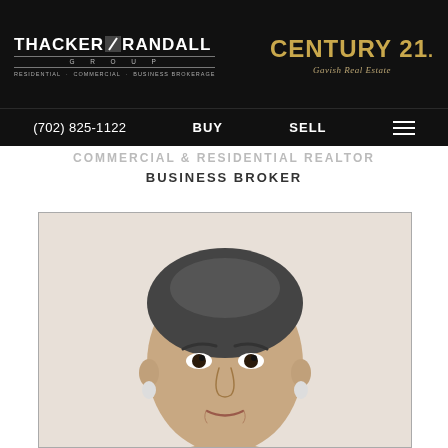THACKER & RANDALL GROUP — RESIDENTIAL · COMMERCIAL · BUSINESS BROKERAGE | CENTURY 21 Gavish Real Estate
(702) 825-1122  BUY  SELL
COMMERCIAL & RESIDENTIAL REALTOR BUSINESS BROKER
[Figure (photo): Headshot photo of a middle-aged woman with dark hair pulled back, looking forward, wearing earrings, against a white background, inside a bordered rectangle]